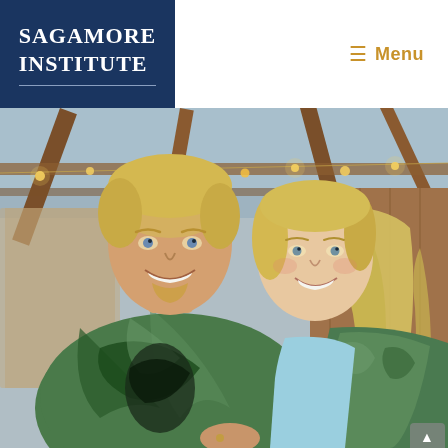SAGAMORE INSTITUTE | Menu
[Figure (photo): Two smiling people posing together inside a rustic wooden barn-like structure with string lights and exposed wooden beams. The man on the left has blonde hair and is wearing a green and black patterned African print shirt. The woman on the right has long blonde hair and is wearing a light blue top with a matching green patterned jacket. Both are smiling warmly at the camera.]